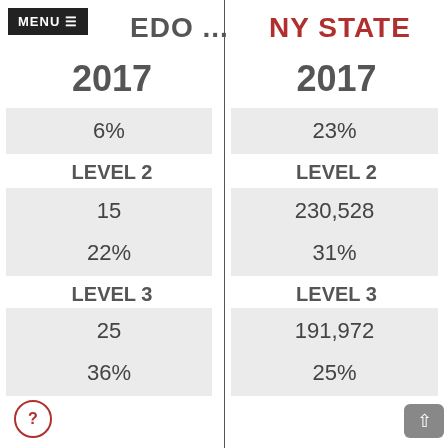MENU ≡ ...EDO ... | NY STATE
2017
2017
6%
23%
LEVEL 2
LEVEL 2
15
230,528
22%
31%
LEVEL 3
LEVEL 3
25
191,972
36%
25%